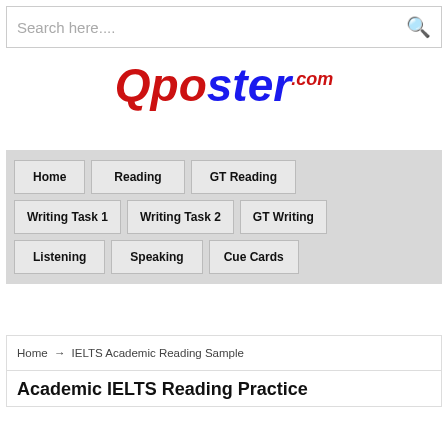Search here....
[Figure (logo): Qposter.com logo in red and blue italic bold font]
Home
Reading
GT Reading
Writing Task 1
Writing Task 2
GT Writing
Listening
Speaking
Cue Cards
Home → IELTS Academic Reading Sample
Academic IELTS Reading Practice